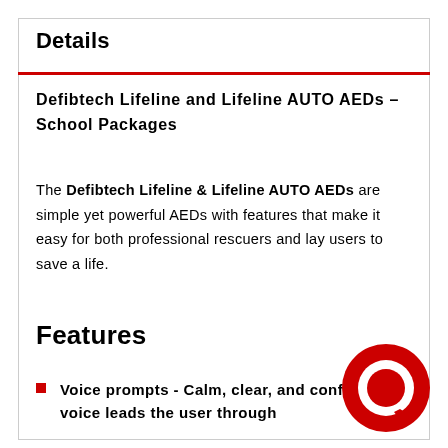Details
Defibtech Lifeline and Lifeline AUTO AEDs – School Packages
The Defibtech Lifeline & Lifeline AUTO AEDs are simple yet powerful AEDs with features that make it easy for both professional rescuers and lay users to save a life.
Features
Voice prompts - Calm, clear, and confident voice leads the user through